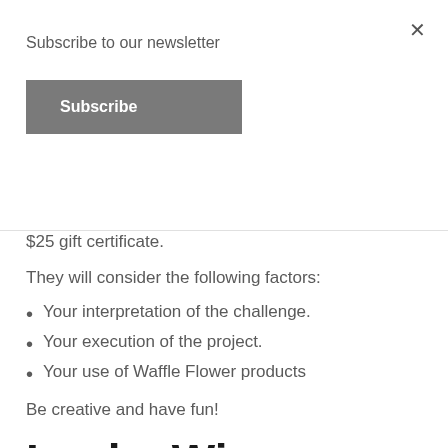Subscribe to our newsletter
Subscribe
$25 gift certificate.
They will consider the following factors:
Your interpretation of the challenge.
Your execution of the project.
Your use of Waffle Flower products
Be creative and have fun!
Lucky Winners
We will draw 3 lucky winners, 1 from each platform, to receive a $15 gift certificate to our